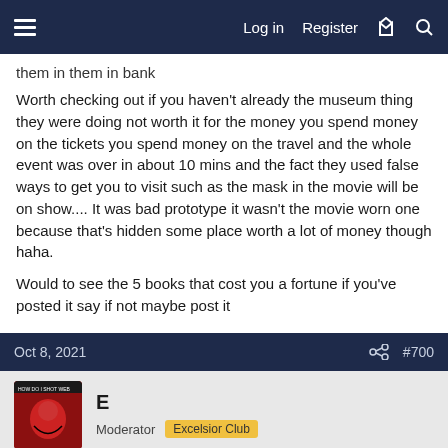Log in  Register
them in them in bank
Worth checking out if you haven't already the museum thing they were doing not worth it for the money you spend money on the tickets you spend money on the travel and the whole event was over in about 10 mins and the fact they used false ways to get you to visit such as the mask in the movie will be on show.... It was bad prototype it wasn't the movie worn one because that's hidden some place worth a lot of money though haha.
Would to see the 5 books that cost you a fortune if you've posted it say if not maybe post it
Oct 8, 2021  #700
E  Moderator  Excelsior Club
What's everyone reading currently?